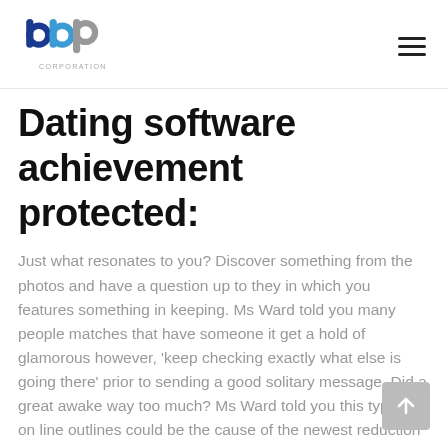[Figure (logo): BBP Corporation logo — blue and grey interlocking circular letters 'b', 'b', 'p' with the word CORPORATION below]
Dating software achievement protected:
Just what resonates to you? Discover something from the photos and have a question up to they in which you features something in keeping. Ms Ward told you many people matches that have someone it get a hold of glamorous however, 'keep checking exactly what else is going there' prior to sending a good solitary message. Did a great awake way too much? Ms Ward told you this type of on line outlines could be the cause of the newest reduction in commitment anywhere between single people